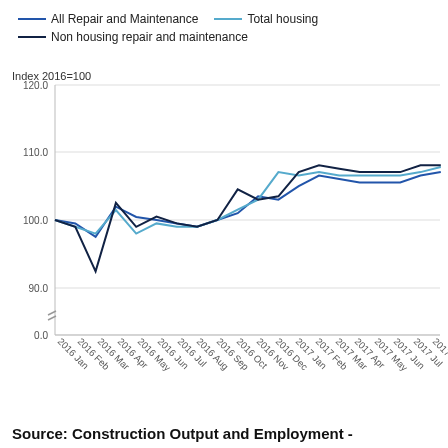[Figure (line-chart): ]
Source: Construction Output and Employment -